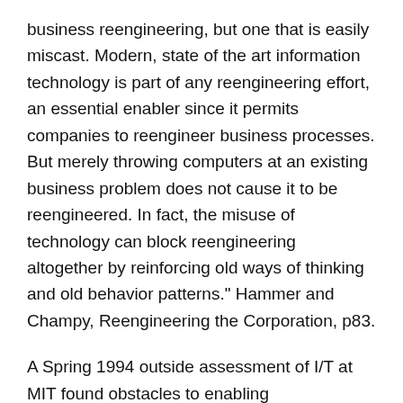business reengineering, but one that is easily miscast. Modern, state of the art information technology is part of any reengineering effort, an essential enabler since it permits companies to reengineer business processes. But merely throwing computers at an existing business problem does not cause it to be reengineered. In fact, the misuse of technology can block reengineering altogether by reinforcing old ways of thinking and old behavior patterns." Hammer and Champy, Reengineering the Corporation, p83.
A Spring 1994 outside assessment of I/T at MIT found obstacles to enabling reengineering success:
Administrative I/T systems and services have not